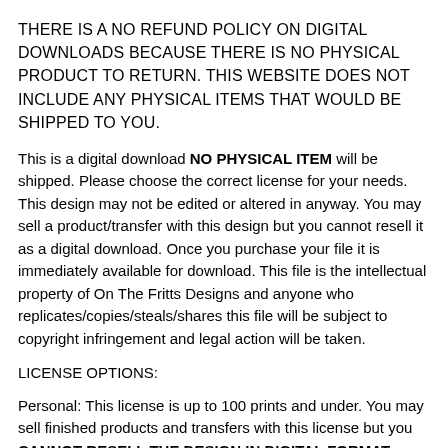THERE IS A NO REFUND POLICY ON DIGITAL DOWNLOADS BECAUSE THERE IS NO PHYSICAL PRODUCT TO RETURN. THIS WEBSITE DOES NOT INCLUDE ANY PHYSICAL ITEMS THAT WOULD BE SHIPPED TO YOU.
This is a digital download NO PHYSICAL ITEM will be shipped. Please choose the correct license for your needs. This design may not be edited or altered in anyway. You may sell a product/transfer with this design but you cannot resell it as a digital download. Once you purchase your file it is immediately available for download. This file is the intellectual property of On The Fritts Designs and anyone who replicates/copies/steals/shares this file will be subject to copyright infringement and legal action will be taken.
LICENSE OPTIONS:
Personal: This license is up to 100 prints and under. You may sell finished products and transfers with this license but you CANNOT RESELL THE DESIGN IN DIGITAL FORMAT.
Small Business: This license is for up to 300 prints. You may sell finished products and transfers with this license but you CANNOT